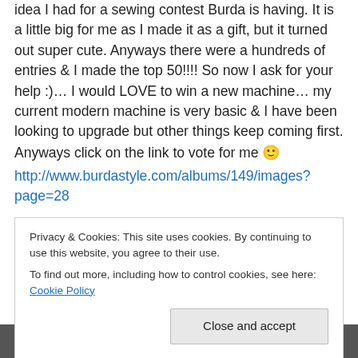idea I had for a sewing contest Burda is having.  It is a little big for me as I made it as a gift, but it turned out super cute.  Anyways there were a hundreds of entries & I made the top 50!!!!  So now I ask for your help :)… I would LOVE to win a new machine… my current modern machine is very basic & I have been looking to upgrade but other things keep coming first.  Anyways click on the link to vote for me 🙂
http://www.burdastyle.com/albums/149/images?page=28

If I win I will post a full tutorial for making this apron on my blog!!!
Privacy & Cookies: This site uses cookies. By continuing to use this website, you agree to their use.
To find out more, including how to control cookies, see here: Cookie Policy